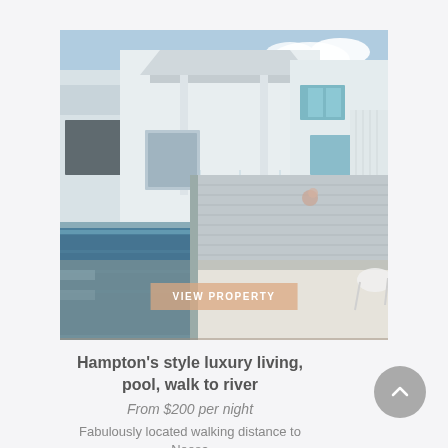[Figure (photo): Exterior photo of a Hampton's style luxury home featuring a long rectangular lap pool in the foreground reflecting the white weatherboard house, glass pool fencing, timber decking, outdoor dining area with chairs and table, covered pergola area, and blue sky with clouds.]
Hampton's style luxury living, pool, walk to river
From $200 per night
Fabulously located walking distance to Noosa